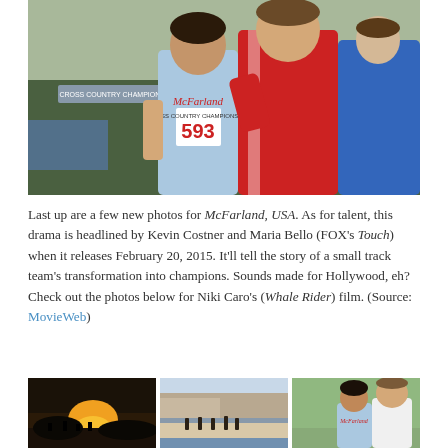[Figure (photo): Movie still from McFarland USA showing a runner wearing bib number 593 with McFarland vest, arm around a man in red track jacket, and another person in blue jacket in background]
Last up are a few new photos for McFarland, USA. As for talent, this drama is headlined by Kevin Costner and Maria Bello (FOX's Touch) when it releases February 20, 2015. It'll tell the story of a small track team's transformation into champions. Sounds made for Hollywood, eh? Check out the photos below for Niki Caro's (Whale Rider) film. (Source: MovieWeb)
[Figure (photo): Three side-by-side movie stills from McFarland USA: sunset scene with silhouetted figures, runners on a beach, and two people including a runner in McFarland jersey]